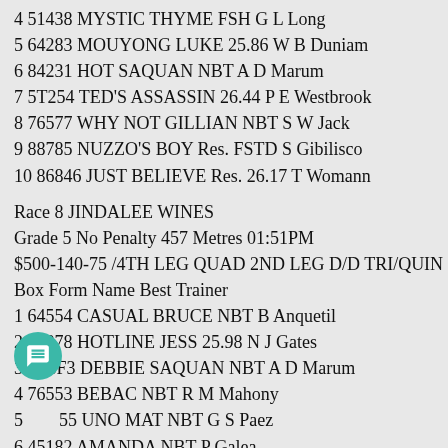4 51438 MYSTIC THYME FSH G L Long
5 64283 MOUYONG LUKE 25.86 W B Duniam
6 84231 HOT SAQUAN NBT A D Marum
7 5T254 TED'S ASSASSIN 26.44 P E Westbrook
8 76577 WHY NOT GILLIAN NBT S W Jack
9 88785 NUZZO'S BOY Res. FSTD S Gibilisco
10 86846 JUST BELIEVE Res. 26.17 T Womann
Race 8 JINDALEE WINES
Grade 5 No Penalty 457 Metres 01:51PM
$500-140-75 /4TH LEG QUAD 2ND LEG D/D TRI/QUIN R/D
Box Form Name Best Trainer
1 64554 CASUAL BRUCE NBT B Anquetil
2 63878 HOTLINE JESS 25.98 N J Gates
3 4T6F3 DEBBIE SAQUAN NBT A D Marum
4 76553 BEBAC NBT R M Mahony
5 [chat icon] 55 UNO MAT NBT G S Paez
6 45182 AMANDA NBT P Galea
7 65541 MACH FOUR FSH J C Bol...